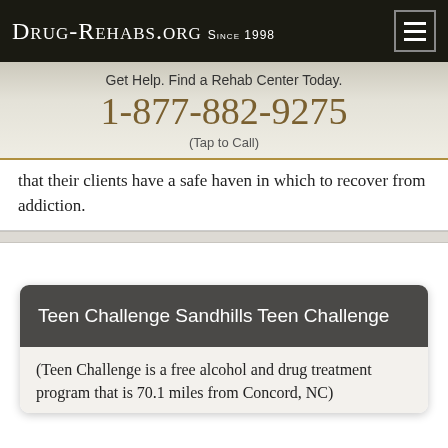Drug-Rehabs.org Since 1998
Get Help. Find a Rehab Center Today.
1-877-882-9275
(Tap to Call)
that their clients have a safe haven in which to recover from addiction.
Teen Challenge Sandhills Teen Challenge
(Teen Challenge is a free alcohol and drug treatment program that is 70.1 miles from Concord, NC)